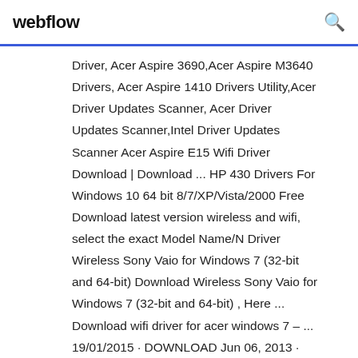webflow
Driver, Acer Aspire 3690,Acer Aspire M3640 Drivers, Acer Aspire 1410 Drivers Utility,Acer Driver Updates Scanner, Acer Driver Updates Scanner,Intel Driver Updates Scanner Acer Aspire E15 Wifi Driver Download | Download ... HP 430 Drivers For Windows 10 64 bit 8/7/XP/Vista/2000 Free Download latest version wireless and wifi, select the exact Model Name/N Driver Wireless Sony Vaio for Windows 7 (32-bit and 64-bit) Download Wireless Sony Vaio for Windows 7 (32-bit and 64-bit) , Here ... Download wifi driver for acer windows 7 – ... 19/01/2015 · DOWNLOAD Jun 06, 2013 · Download Acer Wireless Ethernet Adapter Driver ...